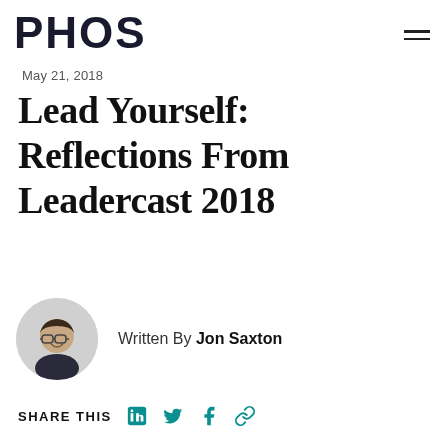PHOS
May 21, 2018
Lead Yourself: Reflections From Leadercast 2018
Written By Jon Saxton
SHARE THIS